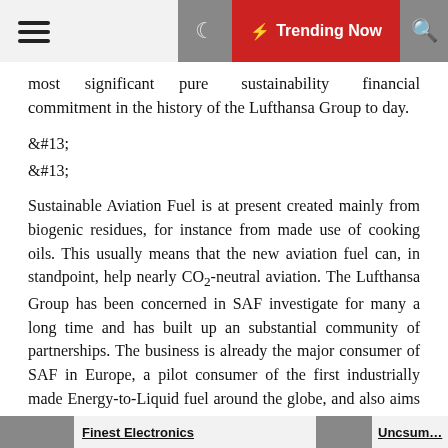Trending Now
most significant pure sustainability financial commitment in the history of the Lufthansa Group to day.
&#13;
&#13;
Sustainable Aviation Fuel is at present created mainly from biogenic residues, for instance from made use of cooking oils. This usually means that the new aviation fuel can, in standpoint, help nearly CO2-neutral aviation. The Lufthansa Group has been concerned in SAF investigate for many a long time and has built up an substantial community of partnerships. The business is already the major consumer of SAF in Europe, a pilot consumer of the first industrially made Energy-to-Liquid fuel around the globe, and also aims to be among the world's major airline teams in the use of sustainable kerosene.
Finest Electronics ... Uncsum...